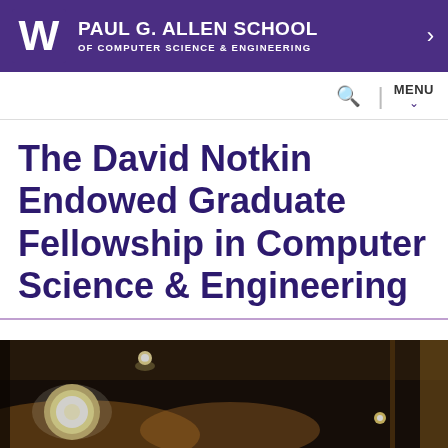PAUL G. ALLEN SCHOOL OF COMPUTER SCIENCE & ENGINEERING
The David Notkin Endowed Graduate Fellowship in Computer Science & Engineering
[Figure (photo): Interior architectural photo showing a ceiling with recessed circular lights and warm wooden or metallic surfaces below, dimly lit.]